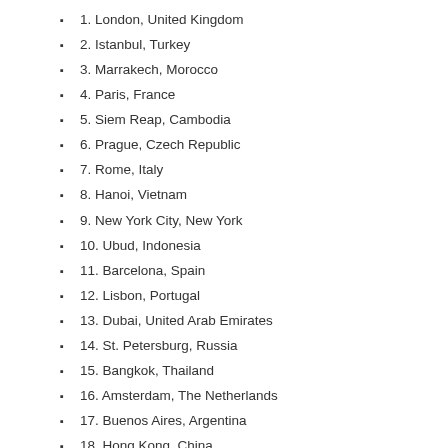1. London, United Kingdom
2. Istanbul, Turkey
3. Marrakech, Morocco
4. Paris, France
5. Siem Reap, Cambodia
6. Prague, Czech Republic
7. Rome, Italy
8. Hanoi, Vietnam
9. New York City, New York
10. Ubud, Indonesia
11. Barcelona, Spain
12. Lisbon, Portugal
13. Dubai, United Arab Emirates
14. St. Petersburg, Russia
15. Bangkok, Thailand
16. Amsterdam, The Netherlands
17. Buenos Aires, Argentina
18. Hong Kong, China
19. Playa del Carmen, Mexico
20. Cape Town Central, South Africa
21. Tokyo, Japan